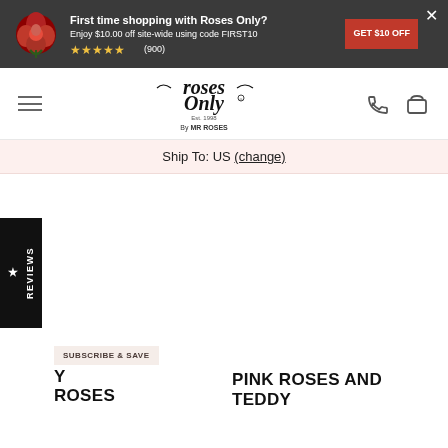First time shopping with Roses Only? Enjoy $10.00 off site-wide using code FIRST10 ★★★★★ (900) GET $10 OFF
[Figure (logo): Roses Only by MR ROSES logo with rose illustration]
Ship To: US (change)
★ REVIEWS
SUBSCRIBE & SAVE
Y ROSES
PINK ROSES AND TEDDY